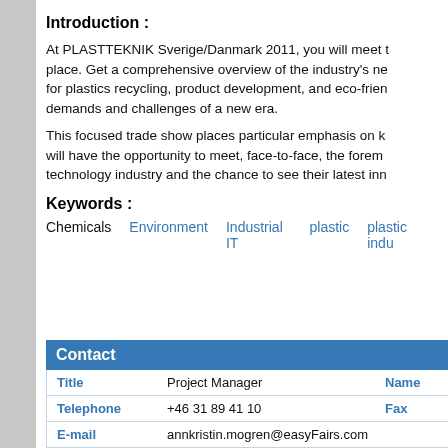Introduction :
At PLASTTEKNIK Sverige/Danmark 2011, you will meet the foremost companies that are driving progress in the field. Get a comprehensive overview of the industry's new products and services, including those for plastics recycling, product development, and eco-friendly solutions, designed to meet the demands and challenges of a new era.
This focused trade show places particular emphasis on knowledge exchange and innovation. You will have the opportunity to meet, face-to-face, the foremost companies in the plastics technology industry and the chance to see their latest innovations.
Keywords :
Chemicals   Environment   Industrial IT   plastic   plastic indu...
| Title | Project Manager | Name | Telephone | +46 31 89 41 10 | Fax | E-mail | annkristin.mogren@easyFairs.com |
| --- | --- | --- | --- | --- | --- | --- | --- |